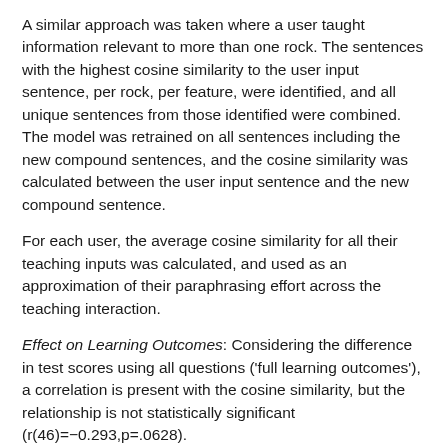A similar approach was taken where a user taught information relevant to more than one rock. The sentences with the highest cosine similarity to the user input sentence, per rock, per feature, were identified, and all unique sentences from those identified were combined. The model was retrained on all sentences including the new compound sentences, and the cosine similarity was calculated between the user input sentence and the new compound sentence.
For each user, the average cosine similarity for all their teaching inputs was calculated, and used as an approximation of their paraphrasing effort across the teaching interaction.
Effect on Learning Outcomes: Considering the difference in test scores using all questions ('full learning outcomes'), a correlation is present with the cosine similarity, but the relationship is not statistically significant (r(46)=−0.293,p=.0628).
Considering only rock-specific questions ('rock-specific learning outcomes'), a statistically significant correlation is present between cosine similarity and rock-specific learning outcomes...